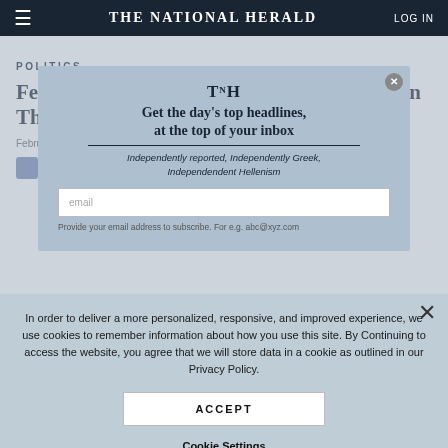THE NATIONAL HERALD | LOG IN
POLITICS
Federals Investigating Manchester Alderman Thomas Kantantonis
February 15, 2017 | Staff
[Figure (screenshot): Newsletter signup modal overlay with TNH logo, headline 'Get the day's top headlines, at the top of your inbox', tagline 'Independently reported, Independently Greek, Independendent Hellenism', and email input field.]
Provide your email address to subscribe. For e.g. abc@xyz.com
In order to deliver a more personalized, responsive, and improved experience, we use cookies to remember information about how you use this site. By Continuing to access the website, you agree that we will store data in a cookie as outlined in our Privacy Policy.
ACCEPT
Cookie Settings